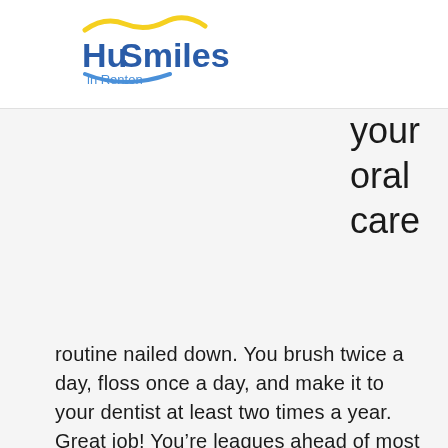Hu Smiles in Renton
your oral care
routine nailed down. You brush twice a day, floss once a day, and make it to your dentist at least two times a year. Great job! You’re leagues ahead of most people. However, taking care of your teeth doesn’t stop when you leave the bathroom or the dentist’s office.